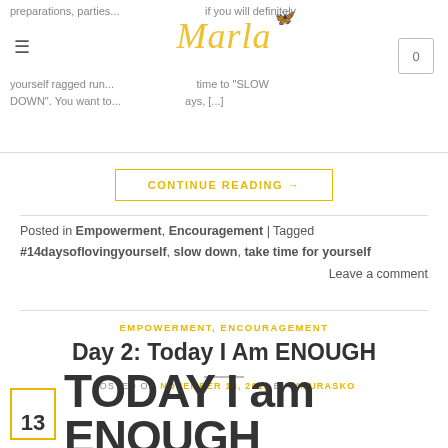preparations, parties... if you will definitely yourself ragged run... time to 'SLOW DOWN'. You want to... ays, [...]
CONTINUE READING →
Posted in Empowerment, Encouragement | Tagged #14daysoflovingyourself, slow down, take time for yourself
Leave a comment
EMPOWERMENT, ENCOURAGEMENT
Day 2: Today I Am ENOUGH
POSTED ON NOVEMBER 13, 2018 BY MMURASKO
TODAY I am ENOUGH